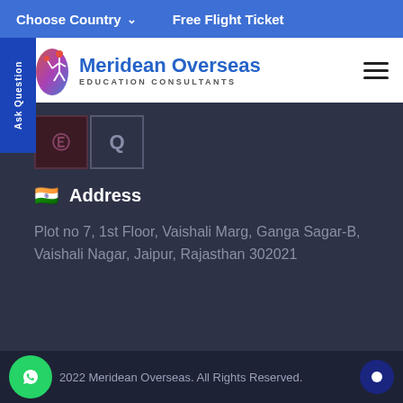Choose Country  ∨     Free Flight Ticket
[Figure (logo): Meridean Overseas Education Consultants logo with figure holding torch and text]
Address
Plot no 7, 1st Floor, Vaishali Marg, Ganga Sagar-B, Vaishali Nagar, Jaipur, Rajasthan 302021
2022 Meridean Overseas. All Rights Reserved.